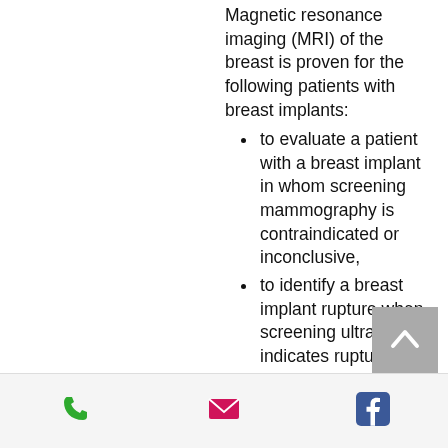Magnetic resonance imaging (MRI) of the breast is proven for the following patients with breast implants:
to evaluate a patient with a breast implant in whom screening mammography is contraindicated or inconclusive,
to identify a breast implant rupture when screening ultrasound indicates rupture in an asymptomatic patient,
to identify a breast implant rupture in a symptomatic patient whose ultrasound does not indicate rupture, or
to diagnose local cancer recurrence in patients who have undergone mastectomy and reconstruction with implant
Magnetic resonance imaging (MRI) screening of the breast is proven for the following:
to evaluate patients with a high